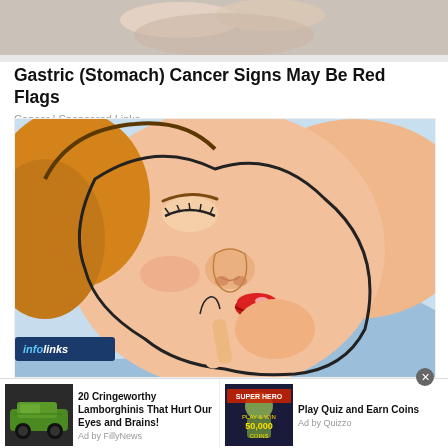[Figure (photo): Top banner photo showing hands on a person's abdomen, medical context]
Gastric (Stomach) Cancer Signs May Be Red Flags
Cancer | Sponsored Links
[Figure (illustration): Comic-style illustration of a person lying down sleeping, close-up of face with red lips on a blue pillow, cartoon art style]
infolinks
[Figure (photo): Green Lamborghini sports car thumbnail ad]
20 Cringeworthy Lamborghinis That Hurt Our Eyes and Brains!
Ad by FillyNews
[Figure (photo): Super Hero comic character ad thumbnail with text PLAY & WIN 50,000 COINS]
Play Quiz and Earn Coins
Ad by Quizzo